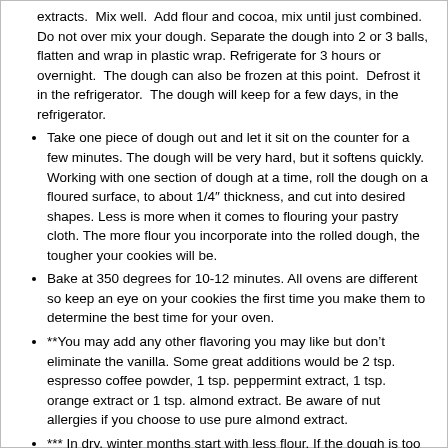extracts. Mix well. Add flour and cocoa, mix until just combined. Do not over mix your dough. Separate the dough into 2 or 3 balls, flatten and wrap in plastic wrap. Refrigerate for 3 hours or overnight. The dough can also be frozen at this point. Defrost it in the refrigerator. The dough will keep for a few days, in the refrigerator.
Take one piece of dough out and let it sit on the counter for a few minutes. The dough will be very hard, but it softens quickly. Working with one section of dough at a time, roll the dough on a floured surface, to about 1/4″ thickness, and cut into desired shapes. Less is more when it comes to flouring your pastry cloth. The more flour you incorporate into the rolled dough, the tougher your cookies will be.
Bake at 350 degrees for 10-12 minutes. All ovens are different so keep an eye on your cookies the first time you make them to determine the best time for your oven.
**You may add any other flavoring you may like but don’t eliminate the vanilla. Some great additions would be 2 tsp. espresso coffee powder, 1 tsp. peppermint extract, 1 tsp. orange extract or 1 tsp. almond extract. Be aware of nut allergies if you choose to use pure almond extract.
*** In dry, winter months start with less flour. If the dough is too soft add the remaining flour.